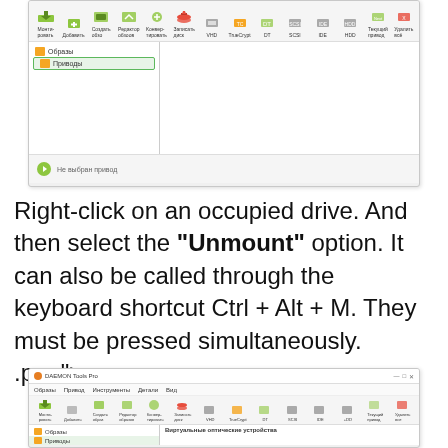[Figure (screenshot): DAEMON Tools Pro application window showing toolbar with icons (Mount, Add, Create Image, Edit Image, Convert, Burn Disc, VHD, TrueCrypt, DT, SCSI, IDE, HDD, Next Drive, Remove All), a left tree pane with 'Образы' folder and 'Приводы' item selected (highlighted with green border), and status bar showing 'Не выбран привод'.]
Right-click on an occupied drive. And then select the "Unmount" option. It can also be called through the keyboard shortcut Ctrl + Alt + M. They must be pressed simultaneously. .png">
[Figure (screenshot): DAEMON Tools Pro application window bottom portion showing title bar, menu bar (Образы, Привод, Инструменты, Детали, Вид), toolbar with icons, and left pane with 'Образы' and 'Приводы' items, right pane showing 'Виртуальные оптические устройства'.]